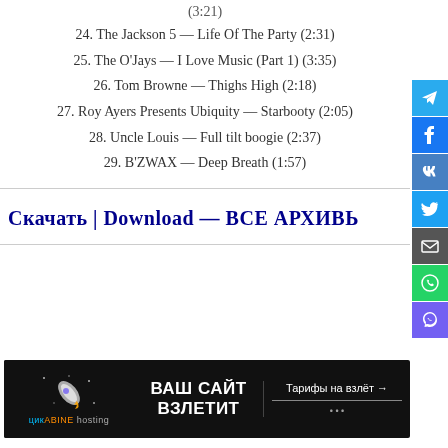(3:21)
24. The Jackson 5 — Life Of The Party (2:31)
25. The O'Jays — I Love Music (Part 1) (3:35)
26. Tom Browne — Thighs High (2:18)
27. Roy Ayers Presents Ubiquity — Starbooty (2:05)
28. Uncle Louis — Full tilt boogie (2:37)
29. B'ZWAX — Deep Breath (1:57)
Скачать | Download — ВСЕ АРХИВЬ
[Figure (other): Ukraine hosting advertisement banner — dark background with rocket graphic, text 'ВАШ САЙТ ВЗЛЕТИТ' and 'Тарифы на взлёт →']